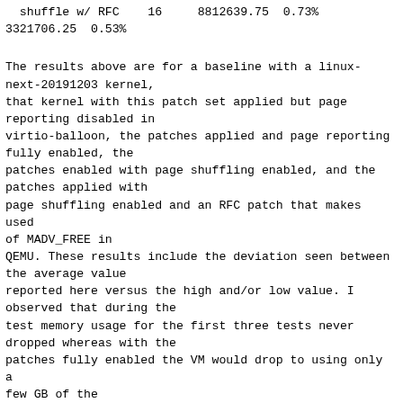shuffle w/ RFC    16     8812639.75  0.73%
3321706.25  0.53%
The results above are for a baseline with a linux-next-20191203 kernel,
that kernel with this patch set applied but page reporting disabled in
virtio-balloon, the patches applied and page reporting fully enabled, the
patches enabled with page shuffling enabled, and the
patches applied with
page shuffling enabled and an RFC patch that makes used of MADV_FREE in
QEMU. These results include the deviation seen between the average value
reported here versus the high and/or low value. I observed that during the
test memory usage for the first three tests never dropped whereas with the
patches fully enabled the VM would drop to using only a few GB of the
host's memory when switching from memhog to page fault tests.
Any of the overhead visible with this patch set enabled seems due to page
faults caused by accessing the reported pages and the host zeroing the page
before giving it back to the guest. This overhead is much more visible when